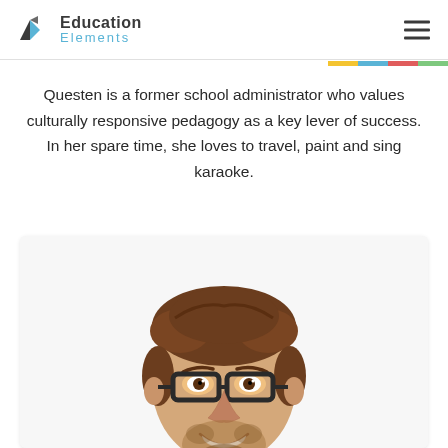Education Elements
Questen is a former school administrator who values culturally responsive pedagogy as a key lever of success. In her spare time, she loves to travel, paint and sing karaoke.
[Figure (photo): Headshot photo of a young man with brown hair and glasses, smiling, with a beard, wearing a light-colored shirt, shown from shoulders up against a white background.]